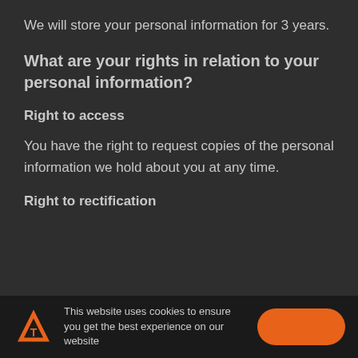We will store your personal information for 3 years.
What are your rights in relation to your personal information?
Right to access
You have the right to request copies of the personal information we hold about you at any time.
Right to rectification
This website uses cookies to ensure you get the best experience on our website